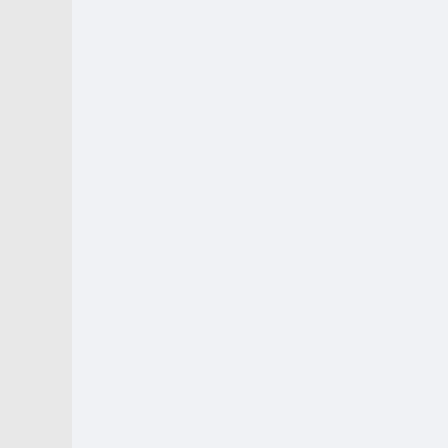Seriously, comparing GNU/LINUX to website Defacing is totally bent.
Obviously the author knows nothing about either GNU or LINUX and the communities that nurture them. GNU and LINUX are constructive, cooperative, almost harmonious attempts at providing a better Operating System and Software products that benefit everyone for...